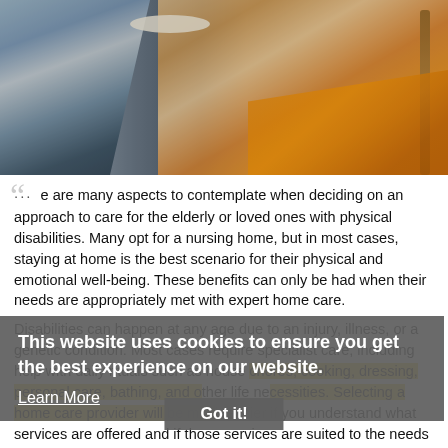[Figure (photo): Photo of a caregiver serving food/drink to an elderly person seated in a chair with an orange blanket and a cane. The scene appears to be in a home care setting.]
There are many aspects to contemplate when deciding on an approach to care for the elderly or loved ones with physical disabilities. Many opt for a nursing home, but in most cases, staying at home is the best scenario for their physical and emotional well-being. These benefits can only be had when their needs are appropriately met with expert home care.
This website uses cookies to ensure you get the best experience on our website.
Learn More
Got it!
Disabilities can happen at any age due to an injury, illness, or a genetic condition. Most cases require specialist care, including help with daily rituals such as house chores, cooking, dressing, personal care, bathing, and other life necessities. Selecting a home care provider will be much easier if you understand what services are offered and if those services are suited to the needs of your loved one.